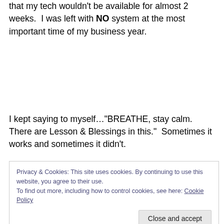that my tech wouldn't be available for almost 2 weeks.  I was left with NO system at the most important time of my business year.
I kept saying to myself…"BREATHE, stay calm.  There are Lesson & Blessings in this."  Sometimes it works and sometimes it didn't.
Privacy & Cookies: This site uses cookies. By continuing to use this website, you agree to their use.
To find out more, including how to control cookies, see here: Cookie Policy